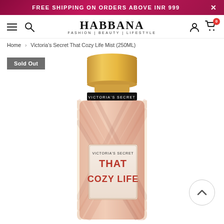FREE SHIPPING ON ORDERS ABOVE INR 999
[Figure (logo): Habbana logo with text HABBANA FASHION | BEAUTY | LIFESTYLE]
Home > Victoria's Secret That Cozy Life Mist (250ML)
Sold Out
[Figure (photo): Victoria's Secret That Cozy Life Mist 250ML body mist bottle with gold cap and houndstooth pattern label]